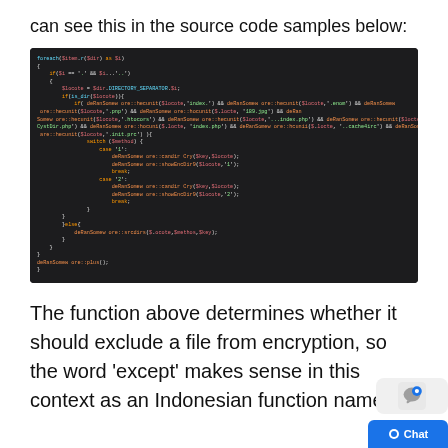can see this in the source code samples below:
[Figure (screenshot): Dark-themed code editor screenshot showing PHP source code with syntax highlighting. Code includes foreach loop, directory separator logic, switch/case statements, and function calls like deRanSomew ore::candir, showEnc, dirctrs.]
The function above determines whether it should exclude a file from encryption, so the word ‘except’ makes sense in this context as an Indonesian function name.